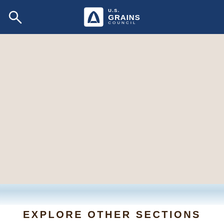U.S. GRAINS COUNCIL
[Figure (other): Large beige/tan background content area, likely a hero image or map placeholder]
[Figure (other): Light blue-white cloudy/sky background section]
EXPLORE OTHER SECTIONS